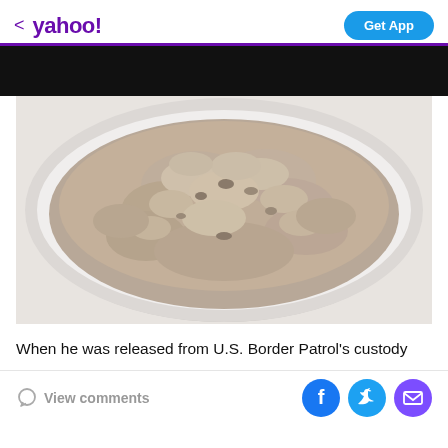< yahoo!   Get App
[Figure (photo): A white bowl filled with cooked oatmeal/porridge, viewed from above on a white surface.]
When he was released from U.S. Border Patrol's custody
View comments